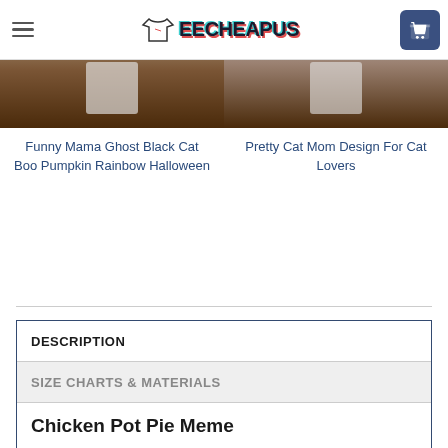TEECHEAPUS (logo with cart)
[Figure (photo): Two product t-shirt images side by side on a wooden background]
Funny Mama Ghost Black Cat Boo Pumpkin Rainbow Halloween
Pretty Cat Mom Design For Cat Lovers
DESCRIPTION
SIZE CHARTS & MATERIALS
Chicken Pot Pie Meme